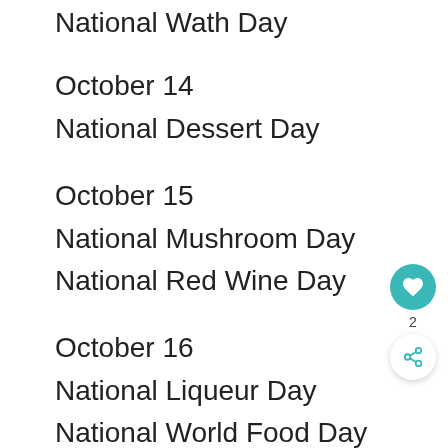National Wath Day
October 14
National Dessert Day
October 15
National Mushroom Day
National Red Wine Day
October 16
National Liqueur Day
National World Food Day
October 17